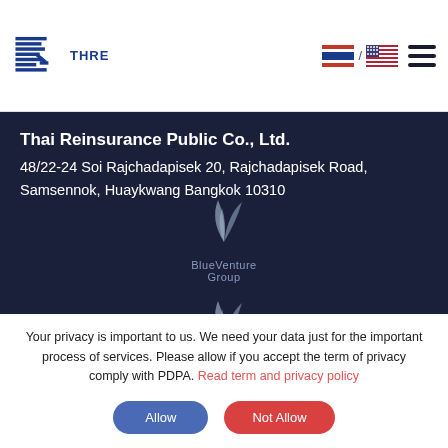[Figure (logo): Thai Reinsurance (THRE) company logo with blue striped R icon and THRE text]
[Figure (illustration): Thai and US flag icons with slash separator, and hamburger menu icon]
Thai Reinsurance Public Co., Ltd.
48/22-24 Soi Rajchadapisek 20, Rajchadapisek Road, Samsennok, Huaykwang Bangkok 10310
[Figure (logo): BlueVenture Group logo - two stylized crescent/wing shapes in grey above the text BlueVenture Group]
[Figure (logo): BlueVenture Group logo repeated - two stylized crescent/wing shapes in grey]
Your privacy is important to us. We need your data just for the important process of services. Please allow if you accept the term of privacy comply with PDPA. Read term and privacy policy